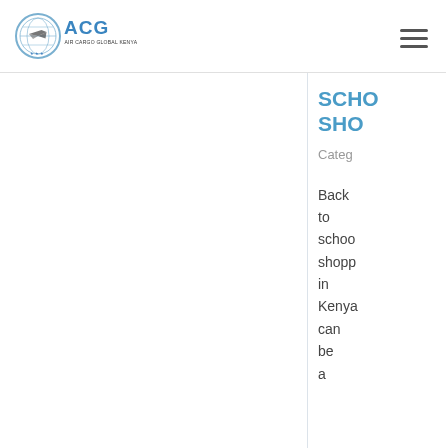[Figure (logo): ACG Air Cargo Global Kenya logo with circular emblem showing a plane and globe, with blue ACG text]
SCHOOL SHOPPING
Categories
Back to school shopping in Kenya can be a